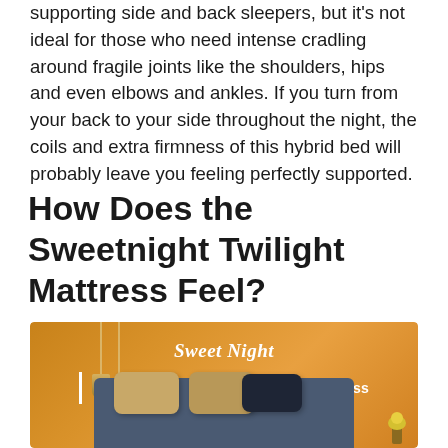supporting side and back sleepers, but it's not ideal for those who need intense cradling around fragile joints like the shoulders, hips and even elbows and ankles. If you turn from your back to your side throughout the night, the coils and extra firmness of this hybrid bed will probably leave you feeling perfectly supported.
How Does the Sweetnight Twilight Mattress Feel?
[Figure (photo): Product photo of a Sweet Night 10 Inch Cooling Memory Foam Mattress on an orange/amber background with the tagline 'Sleep Tight, Rise Bright'. Shows a blue-grey bed frame with orange/tan pillows and pendant lighting.]